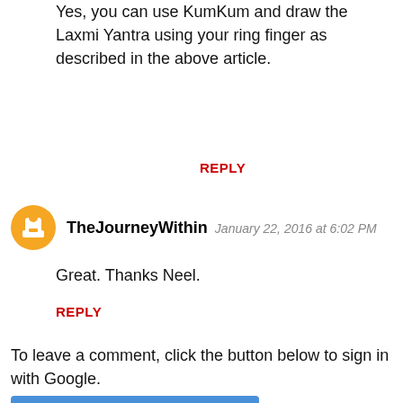Yes, you can use KumKum and draw the Laxmi Yantra using your ring finger as described in the above article.
REPLY
TheJourneyWithin  January 22, 2016 at 6:02 PM
Great. Thanks Neel.
REPLY
To leave a comment, click the button below to sign in with Google.
[Figure (other): Blue 'SIGN IN WITH GOOGLE' button]
Feel free to speak your mind and share your thoughts and knowledge. Answer the Queries